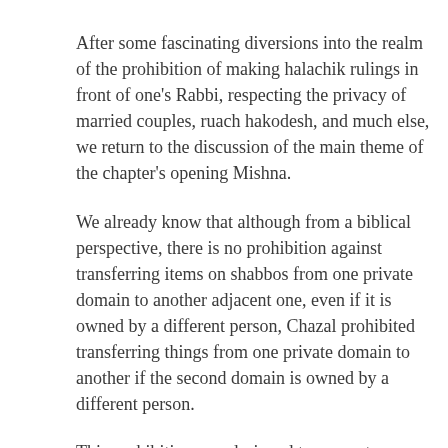After some fascinating diversions into the realm of the prohibition of making halachik rulings in front of one's Rabbi, respecting the privacy of married couples, ruach hakodesh, and much else, we return to the discussion of the main theme of the chapter's opening Mishna.
We already know that although from a biblical perspective, there is no prohibition against transferring items on shabbos from one private domain to another adjacent one, even if it is owned by a different person, Chazal prohibited transferring things from one private domain to another if the second domain is owned by a different person.
This prohibition was designed to prevent one from getting confused and transferring from a private domain to a public domain and extends even to transferring objects from a private domain owned by an individual to one which he shares with other individuals.
This was the standard situation with the shared courtyards that multiple homes would commonly open up to in Talmudic times